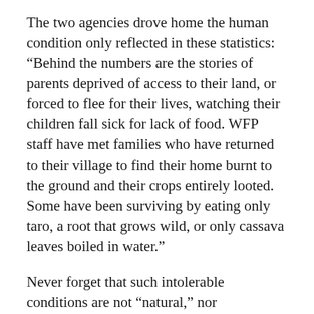The two agencies drove home the human condition only reflected in these statistics: “Behind the numbers are the stories of parents deprived of access to their land, or forced to flee for their lives, watching their children fall sick for lack of food. WFP staff have met families who have returned to their village to find their home burnt to the ground and their crops entirely looted. Some have been surviving by eating only taro, a root that grows wild, or only cassava leaves boiled in water.”
Never forget that such intolerable conditions are not “natural,” nor unsolvable. China’s just-released White Paper “Poverty Alleviation: China’s Experience and Contribution” asserted, “poverty is not a destined negativity…